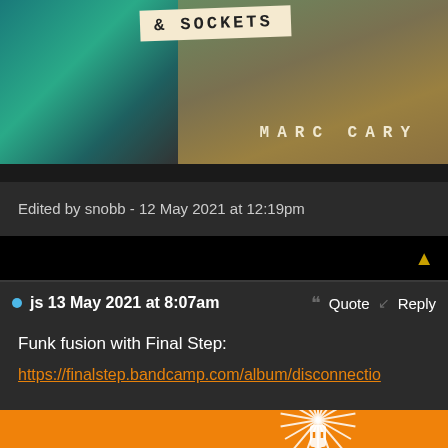[Figure (photo): Album cover banner showing '& SOCKETS' text on a cream/tan label tag over a background with teal graffiti-style artwork on the left and earthy tones on the right, with 'MARC CARY' text in spaced letters at the bottom right]
Edited by snobb - 12 May 2021 at 12:19pm
js 13 May 2021 at 8:07am   Quote   Reply
Funk fusion with Final Step:
https://finalstep.bandcamp.com/album/disconnectio
[Figure (photo): Orange album art for Final Step showing the word 'Final' in large dark teal decorative font with a sunburst/ray design on the right side featuring a plug/socket illustration]